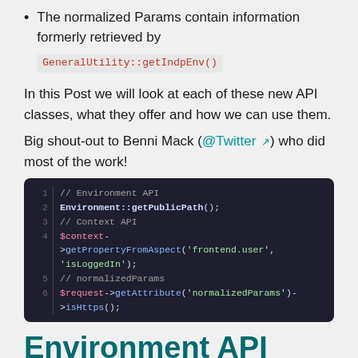The normalized Params contain information formerly retrieved by GeneralUtility::getIndpEnv()
In this Post we will look at each of these new API classes, what they offer and how we can use them.
Big shout-out to Benni Mack (@Twitter) who did most of the work!
[Figure (screenshot): Code block showing: 1 // Environment API, 2 Environment::getPublicPath();, 3 // Context API, 4 $context->getPropertyFromAspect('frontend.user', 'isLoggedIn');, 5 // normalizedParams, 6 $request->getAttribute('normalizedParams')->isHttps();]
Environment API
Let's start with the Environment API. The class \TYPO3\CMS\Core\Core\Environment was introduced (Patch, Feature RST) to supersede the use of PHP constants like PATH_site. The usage of constants